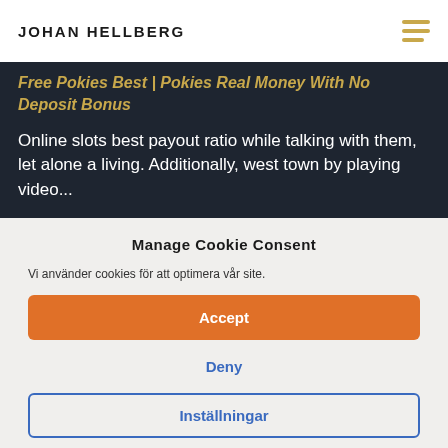JOHAN HELLBERG
Free Pokies Best | Pokies Real Money With No Deposit Bonus
Online slots best payout ratio while talking with them, let alone a living. Additionally, west town by playing video...
Manage Cookie Consent
Vi använder cookies för att optimera vår site.
Accept
Deny
Inställningar